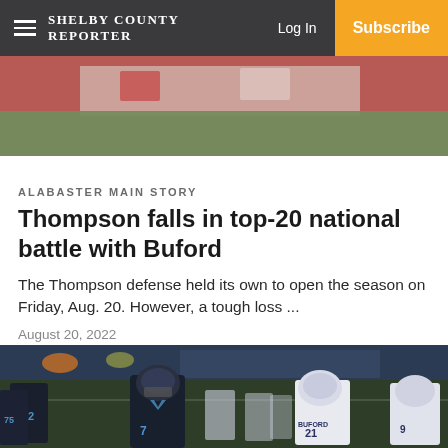Shelby County Reporter — Log In | Subscribe
[Figure (photo): Partial cropped photo of football players in red and white jerseys on a field, visible at the top portion of the page]
ALABASTER MAIN STORY
Thompson falls in top-20 national battle with Buford
The Thompson defense held its own to open the season on Friday, Aug. 20. However, a tough loss ...
August 20, 2022
[Figure (photo): Football game photo showing players in dark blue/black uniforms with numbers 72, 75, 7 and opposing team in white uniforms with number 21, taken at night under stadium lights]